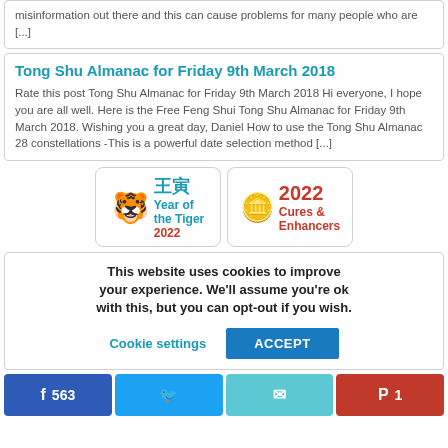misinformation out there and this can cause problems for many people who are [...]
Tong Shu Almanac for Friday 9th March 2018
Rate this post Tong Shu Almanac for Friday 9th March 2018 Hi everyone,  I hope you are all well. Here is the Free Feng Shui Tong Shu Almanac for Friday 9th March 2018. Wishing you a great day, Daniel How to use the Tong Shu Almanac  28 constellations -This is a powerful date selection method [...]
[Figure (illustration): Year of the Tiger 2022 banner with Chinese characters and golden tiger graphic]
[Figure (illustration): 2022 Cures & Enhancers banner with coin/pendant graphic]
This website uses cookies to improve your experience. We'll assume you're ok with this, but you can opt-out if you wish.
Cookie settings   ACCEPT
563  [Facebook share]  [Twitter share]  [Email share]  1 [Pinterest share]